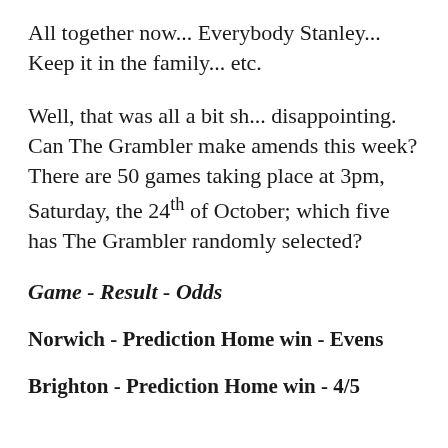All together now... Everybody Stanley... Keep it in the family... etc.
Well, that was all a bit sh... disappointing. Can The Grambler make amends this week? There are 50 games taking place at 3pm, Saturday, the 24th of October; which five has The Grambler randomly selected?
Game - Result - Odds
Norwich - Prediction Home win - Evens
Brighton - Prediction Home win - 4/5